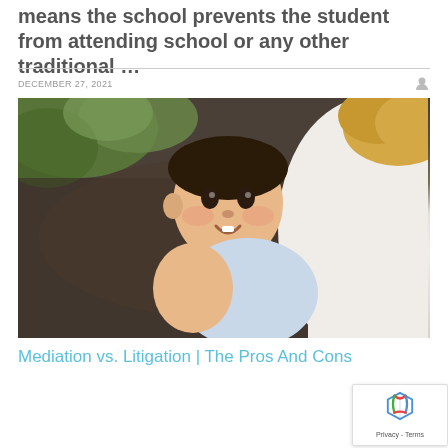means the school prevents the student from attending school or any other traditional …
DECEMBER 27, 2021
[Figure (photo): A smiling baby being held by an adult wearing a white shirt, outdoors with green foliage in the background.]
Mediation vs. Litigation | The Pros And Cons